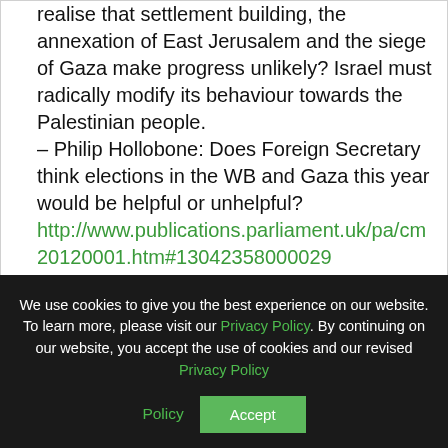realise that settlement building, the annexation of East Jerusalem and the siege of Gaza make progress unlikely? Israel must radically modify its behaviour towards the Palestinian people.
– Philip Hollobone: Does Foreign Secretary think elections in the WB and Gaza this year would be helpful or unhelpful?
http://www.publications.parliament.uk/pa/cm20120001.htm#13042358000029
2. Topical FCO Questions:
We use cookies to give you the best experience on our website. To learn more, please visit our Privacy Policy. By continuing on our website, you accept the use of cookies and our revised Privacy Policy